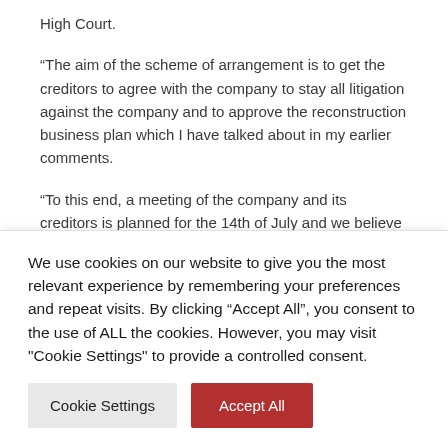High Court.
“The aim of the scheme of arrangement is to get the creditors to agree with the company to stay all litigation against the company and to approve the reconstruction business plan which I have talked about in my earlier comments.
“To this end, a meeting of the company and its creditors is planned for the 14th of July and we believe that there will
We use cookies on our website to give you the most relevant experience by remembering your preferences and repeat visits. By clicking “Accept All”, you consent to the use of ALL the cookies. However, you may visit "Cookie Settings" to provide a controlled consent.